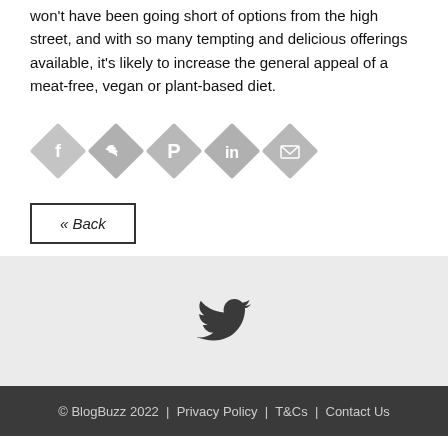won't have been going short of options from the high street, and with so many tempting and delicious offerings available, it's likely to increase the general appeal of a meat-free, vegan or plant-based diet.
[Figure (infographic): Row of five diamond-shaped social share icons: Facebook, Twitter, Pinterest, LinkedIn, Email]
« Back
[Figure (logo): Large Twitter bird icon in dark gray on light gray background]
© BlogBuzz 2022  |  Privacy Policy  |  T&Cs  |  Contact Us